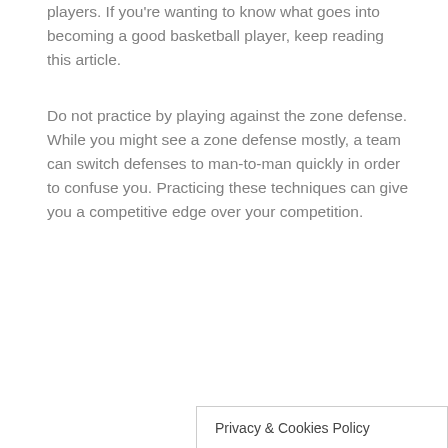players. If you're wanting to know what goes into becoming a good basketball player, keep reading this article.
Do not practice by playing against the zone defense. While you might see a zone defense mostly, a team can switch defenses to man-to-man quickly in order to confuse you. Practicing these techniques can give you a competitive edge over your competition.
Privacy & Cookies Policy